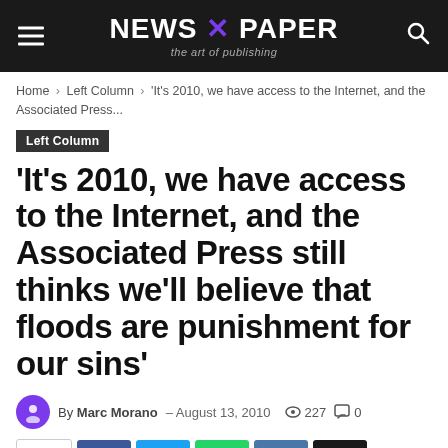NEWS X PAPER — the art of publishing
Home › Left Column › 'It's 2010, we have access to the Internet, and the Associated Press...
Left Column
'It's 2010, we have access to the Internet, and the Associated Press still thinks we'll believe that floods are punishment for our sins'
By Marc Morano – August 13, 2010  👁 227  💬 0